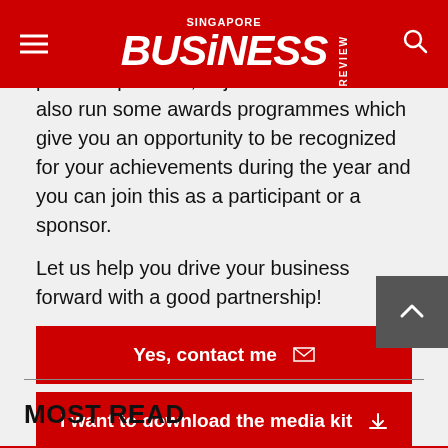Singapore Business Review
and find thought leader speakers as well as industry leaders, who could be your potential partners, to join the event. We also run some awards programmes which give you an opportunity to be recognized for your achievements during the year and you can join this as a participant or a sponsor.
Let us help you drive your business forward with a good partnership!
Yes, contact me
I want to download the media kit
MOST READ